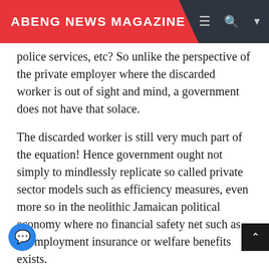ABENG NEWS MAGAZINE
police services, etc? So unlike the perspective of the private employer where the discarded worker is out of sight and mind, a government does not have that solace.
The discarded worker is still very much part of the equation! Hence government ought not simply to mindlessly replicate so called private sector models such as efficiency measures, even more so in the neolithic Jamaican political economy where no financial safety net such as unemployment insurance or welfare benefits exists.
And whilst we strive to raise efficiency one must note that it is preferable to have workers in the public sector inefficiently employed to being not employed at all, with the inevitable consequences of hopelessness, despair and crime, all more costly to society than inefficiency can eve